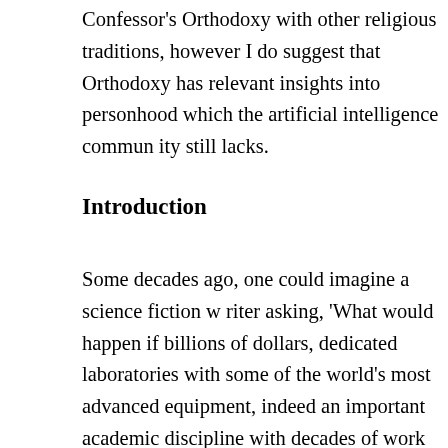Confessor's Orthodoxy with other religious traditions, however I do suggest that Orthodoxy has relevant insights into personhood which the artificial intelligence community still lacks.
Introduction
Some decades ago, one could imagine a science fiction writer asking, 'What would happen if billions of dollars, dedicated laboratories with some of the world's most advanced equipment, indeed an important academic discipline with decades of work from some of the world's most brilliant minds—what if all of these were poured into an attempt to make an artificial mind based on an understanding of